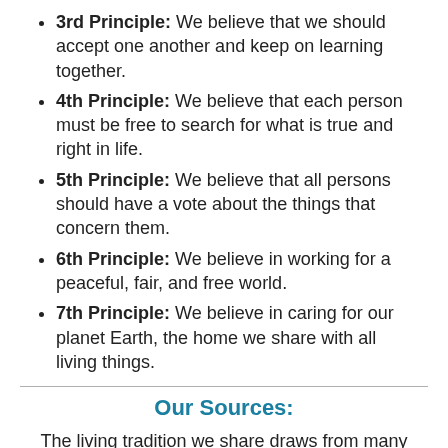3rd Principle: We believe that we should accept one another and keep on learning together.
4th Principle: We believe that each person must be free to search for what is true and right in life.
5th Principle: We believe that all persons should have a vote about the things that concern them.
6th Principle: We believe in working for a peaceful, fair, and free world.
7th Principle: We believe in caring for our planet Earth, the home we share with all living things.
Our Sources:
The living tradition we share draws from many sources including:
Direct experience of mystery and wonder;
Words and deeds of prophetic women and men;
Wisdom from the world's religions which inspires us in our